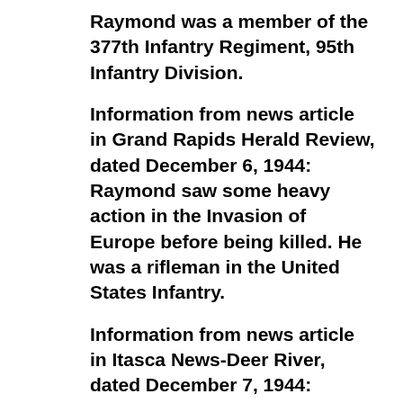Raymond was a member of the 377th Infantry Regiment, 95th Infantry Division.
Information from news article in Grand Rapids Herald Review, dated December 6, 1944:
Raymond saw some heavy action in the Invasion of Europe before being killed. He was a rifleman in the United States Infantry.
Information from news article in Itasca News-Deer River, dated December 7, 1944:
Mrs. Gertrude Walsh, formerly of this place but who is now making her home in Grand Rapids, received word Monday that her son, PFC Raymond Walsh, who was reported